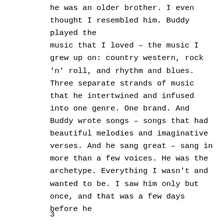he was an older brother. I even thought I resembled him. Buddy played the music that I loved – the music I grew up on: country western, rock 'n' roll, and rhythm and blues. Three separate strands of music that he intertwined and infused into one genre. One brand. And Buddy wrote songs – songs that had beautiful melodies and imaginative verses. And he sang great – sang in more than a few voices. He was the archetype. Everything I wasn't and wanted to be. I saw him only but once, and that was a few days before he
3